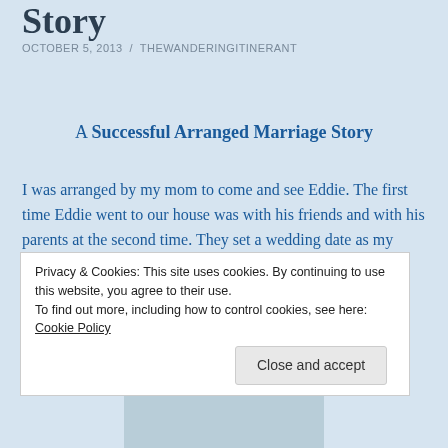Story
OCTOBER 5, 2013 / THEWANDERINGITINERANT
A Successful Arranged Marriage Story
I was arranged by my mom to come and see Eddie. The first time Eddie went to our house was with his friends and with his parents at the second time. They set a wedding date as my mom accorded to the arranged marriage story. My mom told me to stop going to school
Privacy & Cookies: This site uses cookies. By continuing to use this website, you agree to their use.
To find out more, including how to control cookies, see here: Cookie Policy
Close and accept